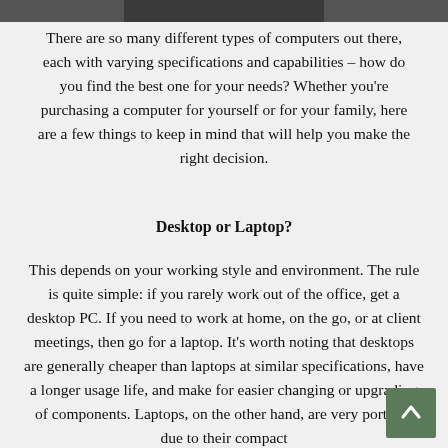[Figure (photo): Partial photo of a laptop or computer, cropped at top of page]
There are so many different types of computers out there, each with varying specifications and capabilities – how do you find the best one for your needs? Whether you're purchasing a computer for yourself or for your family, here are a few things to keep in mind that will help you make the right decision.
Desktop or Laptop?
This depends on your working style and environment. The rule is quite simple: if you rarely work out of the office, get a desktop PC. If you need to work at home, on the go, or at client meetings, then go for a laptop. It's worth noting that desktops are generally cheaper than laptops at similar specifications, have a longer usage life, and make for easier changing or upgrading of components. Laptops, on the other hand, are very portable due to their compact